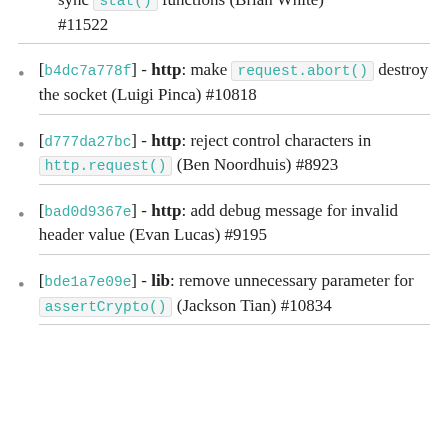sync stat() functions (Brian White) #11522
[b4dc7a778f] - http: make request.abort() destroy the socket (Luigi Pinca) #10818
[d777da27bc] - http: reject control characters in http.request() (Ben Noordhuis) #8923
[bad0d9367e] - http: add debug message for invalid header value (Evan Lucas) #9195
[bde1a7e09e] - lib: remove unnecessary parameter for assertCrypto() (Jackson Tian) #10834